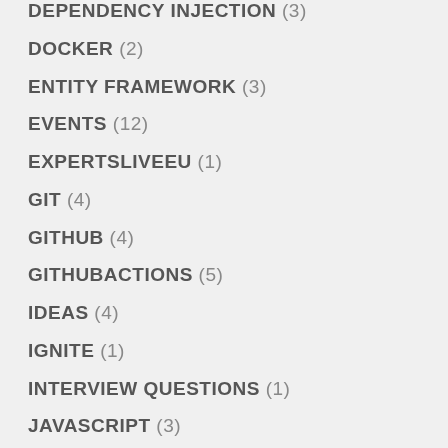DEPENDENCY INJECTION (3)
DOCKER (2)
ENTITY FRAMEWORK (3)
EVENTS (12)
EXPERTSLIVEEU (1)
GIT (4)
GITHUB (4)
GITHUBACTIONS (5)
IDEAS (4)
IGNITE (1)
INTERVIEW QUESTIONS (1)
JAVASCRIPT (3)
JQUERY (6)
KNOCKOUTJS (8)
LOGIC APPS (2)